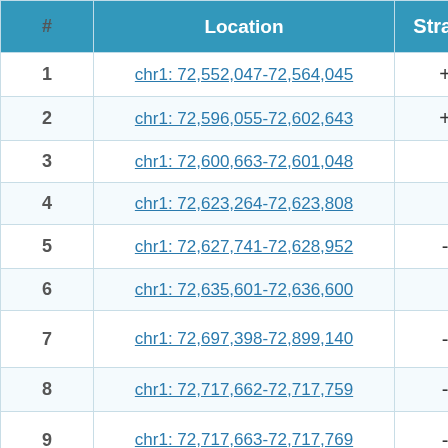| # | Location | Strand | Gene |
| --- | --- | --- | --- |
| 1 | chr1: 72,552,047-72,564,045 | + | GC01P0725 |
| 2 | chr1: 72,596,055-72,602,643 | + | GC01P0725 |
| 3 | chr1: 72,600,663-72,601,048 |  |  |
| 4 | chr1: 72,623,264-72,623,808 |  |  |
| 5 | chr1: 72,627,741-72,628,952 | - | GC01M072 |
| 6 | chr1: 72,635,601-72,636,600 |  |  |
| 7 | chr1: 72,697,398-72,899,140 | - | LOC105378 / Exon struct |
| 8 | chr1: 72,717,662-72,717,759 | - | GC01M072 |
| 9 | chr1: 72,717,663-72,717,769 | - | RNU6-1246 / Exon struct |
| 10 | chr1: 72,725,018-72,725,147 |  |  |